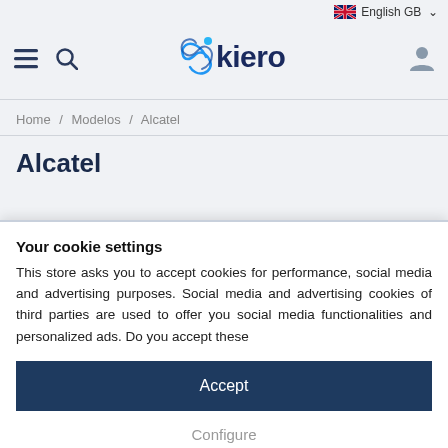English GB
[Figure (logo): Kiero brand logo with blue wave swoosh and dark blue text 'kiero']
Home / Modelos / Alcatel
Alcatel
Your cookie settings
This store asks you to accept cookies for performance, social media and advertising purposes. Social media and advertising cookies of third parties are used to offer you social media functionalities and personalized ads. Do you accept these
Accept
Configure
Privacy & Cookie Policy